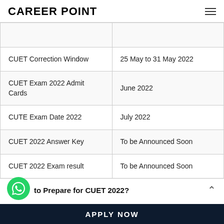CAREER POINT
| CUET Correction Window | 25 May to 31 May 2022 |
| CUET Exam 2022 Admit Cards | June 2022 |
| CUTE Exam Date 2022 | July 2022 |
| CUET 2022 Answer Key | To be Announced Soon |
| CUET 2022 Exam result | To be Announced Soon |
How to Prepare for CUET 2022?
APPLY NOW